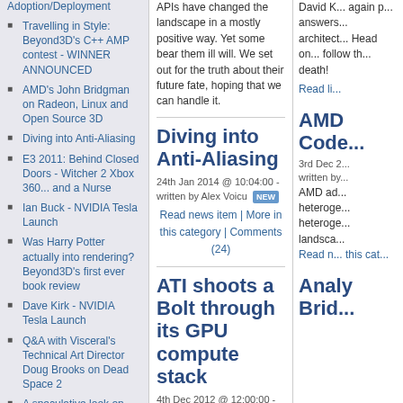Adoption/Deployment
Travelling in Style: Beyond3D's C++ AMP contest - WINNER ANNOUNCED
AMD's John Bridgman on Radeon, Linux and Open Source 3D
Diving into Anti-Aliasing
E3 2011: Behind Closed Doors - Witcher 2 Xbox 360... and a Nurse
Ian Buck - NVIDIA Tesla Launch
Was Harry Potter actually into rendering? Beyond3D's first ever book review
Dave Kirk - NVIDIA Tesla Launch
Q&A with Visceral's Technical Art Director Doug Brooks on Dead Space 2
A speculative look on the Wii U GPU
APIs have changed the landscape in a mostly positive way. Yet some bear them ill will. We set out for the truth about their future fate, hoping that we can handle it.
Diving into Anti-Aliasing
24th Jan 2014 @ 10:04:00 - written by Alex Voicu
Read news item | More in this category | Comments (24)
ATI shoots a Bolt through its GPU compute stack
4th Dec 2012 @ 12:00:00 - written by Alex Voicu
In an attempt to rekindle embers long thought
David K... again p... answers... architect... Head on... follow th... death!
Read li...
AMD Code...
3rd Dec 2...
written by...
AMD ad... heteroge... heteroge... landsca...
Read n... this cat...
Analy Brid...